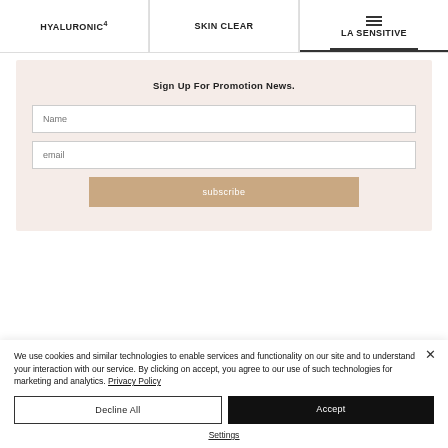HYALURONIC4 | SKIN CLEAR | MULA SENSITIVE
Sign Up For Promotion News.
Name
email
subscribe
We use cookies and similar technologies to enable services and functionality on our site and to understand your interaction with our service. By clicking on accept, you agree to our use of such technologies for marketing and analytics. Privacy Policy
Decline All
Accept
Settings